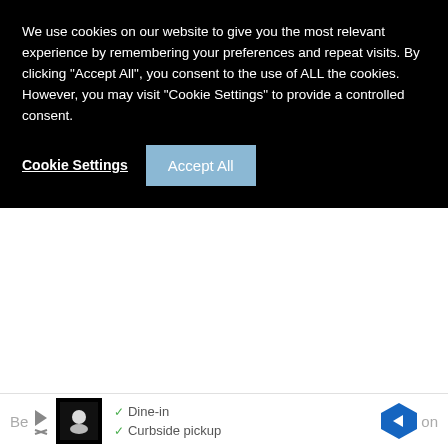[Figure (screenshot): Cookie consent banner overlay with black background. Text reads: 'We use cookies on our website to give you the most relevant experience by remembering your preferences and repeat visits. By clicking "Accept All", you consent to the use of ALL the cookies. However, you may visit "Cookie Settings" to provide a controlled consent.' Buttons: 'Cookie Settings' (underlined link) and 'Accept All' (blue button).]
find handy.
Just so you know, I believe all of these were done with inkjet printers. I hope you enjoy these fun tutorials for printing on fabric!
Want to know How to Print on Other Stuff?
[Figure (screenshot): Advertisement banner at bottom of page showing a restaurant listing with Dine-in and Curbside pickup checkmarks, a logo icon, and a blue navigation arrow icon. Partially visible text on left and right edges.]